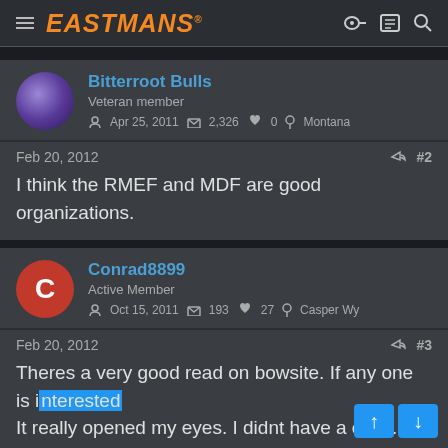EASTMANS
Bitterroot Bulls
Veteran member
Apr 25, 2011  2,326  0  Montana
Feb 20, 2012  #2
I think the RMEF and MDF are good organizations.
Conrad8899
Active Member
Oct 15, 2011  193  27  Casper Wy
Feb 20, 2012  #3
Theres a very good read on bowsite. If any one is interested It really opened my eyes. I didnt have a clue.......